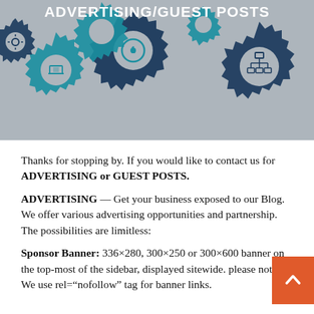[Figure (illustration): Banner image with gears/cogs in teal and dark navy blue on a grey background, with icons inside gears (laptop, settings, medal, network diagram). White bold text reads ADVERTISING/GUEST POSTS.]
ADVERTISING/GUEST POSTS
Thanks for stopping by. If you would like to contact us for ADVERTISING or GUEST POSTS.
ADVERTISING — Get your business exposed to our Blog. We offer various advertising opportunities and partnership. The possibilities are limitless:
Sponsor Banner: 336×280, 300×250 or 300×600 banner on the top-most of the sidebar, displayed sitewide. please note: We use rel="nofollow" tag for banner links.